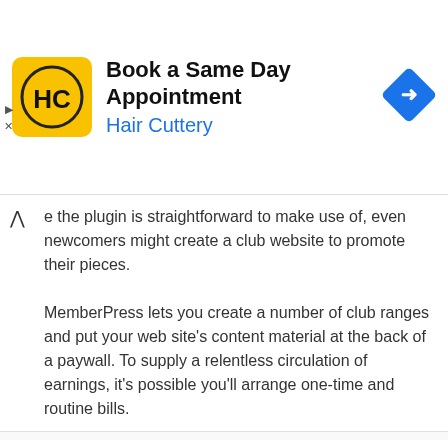[Figure (infographic): Hair Cuttery advertisement banner: HC logo on yellow background, title 'Book a Same Day Appointment', subtitle 'Hair Cuttery' in blue, blue diamond navigation icon on right. Small play and X controls on left edge.]
e the plugin is straightforward to make use of, even newcomers might create a club website to promote their pieces.
MemberPress lets you create a number of club ranges and put your web site's content material at the back of a paywall. To supply a relentless circulation of earnings, it's possible you'll arrange one-time and routine bills.
We use cookies on our website to give you the most relevant experience by remembering your preferences and repeat visits. By clicking "Accept All", you consent to the use of ALL the cookies. However, you may visit "Cookie Settings" to provide a controlled consent.
Cookie Settings   Accept All